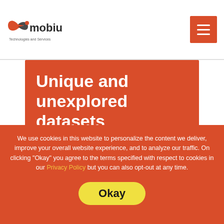[Figure (logo): Mobius Technologies and Services logo with stylized orange/red infinity-like symbol and 'mobius' text in dark gray]
Unique and unexplored datasets
We use cookies in this website to personalize the content we deliver, improve your overall website experience, and to analyze our traffic. On clicking "Okay" you agree to the terms specified with respect to cookies in our Privacy Policy but you can also opt-out at any time.
Okay